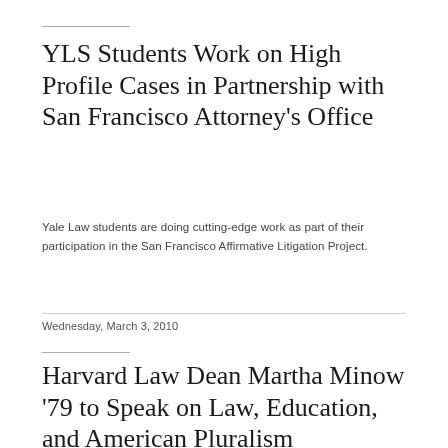YLS Students Work on High Profile Cases in Partnership with San Francisco Attorney's Office
Yale Law students are doing cutting-edge work as part of their participation in the San Francisco Affirmative Litigation Project.
Wednesday, March 3, 2010
Harvard Law Dean Martha Minow '79 to Speak on Law, Education, and American Pluralism